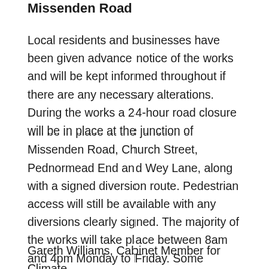Missenden Road
Local residents and businesses have been given advance notice of the works and will be kept informed throughout if there are any necessary alterations. During the works a 24-hour road closure will be in place at the junction of Missenden Road, Church Street, Pednormead End and Wey Lane, along with a signed diversion route. Pedestrian access will still be available with any diversions clearly signed. The majority of the works will take place between 8am and 4pm Monday to Friday. Some exceptions will require work to take place outside these hours but all those affected will be notified in advance.
Gareth Williams, Cabinet Member for Climate